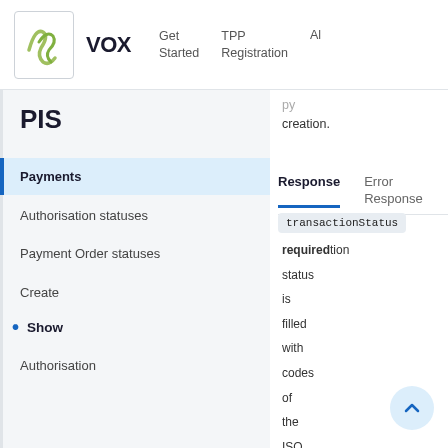VOX  Get Started  TPP Registration  A…
PIS
Payments
Authorisation statuses
Payment Order statuses
Create
Show
Authorisation
py creation.
Response  Error Response
transactionStatus  required  tion status is filled with codes of the ISO 20022 d…